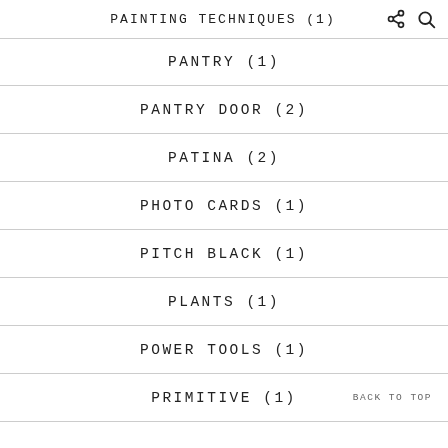PAINTING TECHNIQUES (1)
PANTRY (1)
PANTRY DOOR (2)
PATINA (2)
PHOTO CARDS (1)
PITCH BLACK (1)
PLANTS (1)
POWER TOOLS (1)
PRIMITIVE (1)